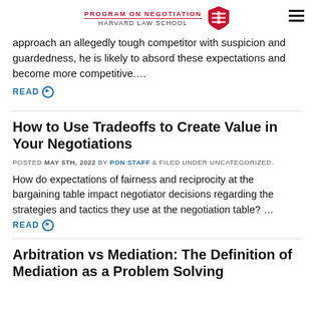PROGRAM ON NEGOTIATION HARVARD LAW SCHOOL
approach an allegedly tough competitor with suspicion and guardedness, he is likely to absord these expectations and become more competitive....
READ
How to Use Tradeoffs to Create Value in Your Negotiations
POSTED MAY 5TH, 2022 BY PON STAFF & FILED UNDER UNCATEGORIZED.
How do expectations of fairness and reciprocity at the bargaining table impact negotiator decisions regarding the strategies and tactics they use at the negotiation table? ... READ
Arbitration vs Mediation: The Definition of Mediation as a Problem Solving